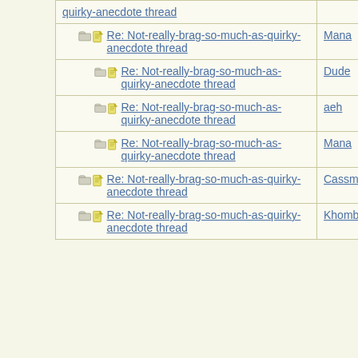|  | Thread | Author |
| --- | --- | --- |
|  | Re: Not-really-brag-so-much-as-quirky-anecdote thread |  |
|  | Re: Not-really-brag-so-much-as-quirky-anecdote thread | Mana |
|  | Re: Not-really-brag-so-much-as-quirky-anecdote thread | Dude |
|  | Re: Not-really-brag-so-much-as-quirky-anecdote thread | aeh |
|  | Re: Not-really-brag-so-much-as-quirky-anecdote thread | Mana |
|  | Re: Not-really-brag-so-much-as-quirky-anecdote thread | Cassmo4 |
|  | Re: Not-really-brag-so-much-as-quirky-anecdote thread | Khombi |